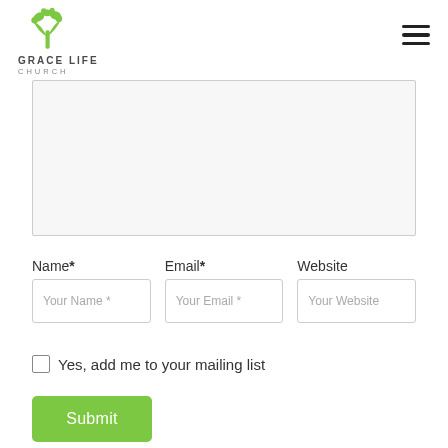[Figure (logo): Grace Life Church logo: green tree/person icon above text reading GRACE LIFE CHURCH]
[Figure (other): Hamburger menu icon (three horizontal lines) in top right corner]
[Figure (other): Comment textarea input box (empty, light gray background)]
Name*
Email*
Website
Your Name *
Your Email *
Your Website
Yes, add me to your mailing list
Submit